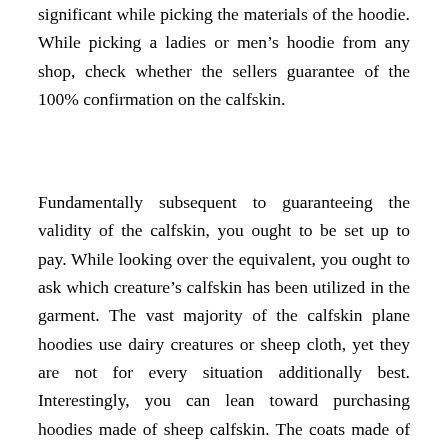significant while picking the materials of the hoodie. While picking a ladies or men’s hoodie from any shop, check whether the sellers guarantee of the 100% confirmation on the calfskin.
Fundamentally subsequent to guaranteeing the validity of the calfskin, you ought to be set up to pay. While looking over the equivalent, you ought to ask which creature’s calfskin has been utilized in the garment. The vast majority of the calfskin plane hoodies use dairy creatures or sheep cloth, yet they are not for every situation additionally best. Interestingly, you can lean toward purchasing hoodies made of sheep calfskin. The coats made of sheep calfskin are light and satisfying to put on. Moreover, the sheep hoodies have a fine apex free touch over the skin. In the event that you are searching for a hoodie for ladies, you ought to in like way see the covering of the hoodie.